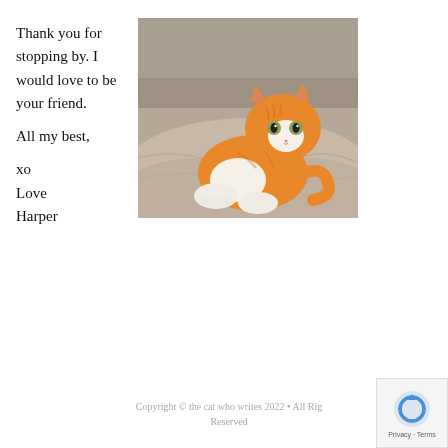Thank you for stopping by. I would love to be your friend.

All my best,

xo
Love
Harper
[Figure (photo): An orange and white tabby kitten lying on a beige/grey blanket on a couch, looking at the camera.]
Copyright © the cat who writes 2022 • All Rights Reserved